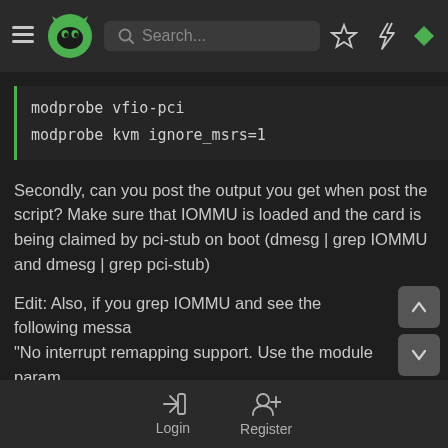Navigation header with logo, search bar, and icons
modprobe vfio-pci
modprobe kvm ignore_msrs=1
Secondly, can you post the output you get when post the script? Make sure that IOMMU is loaded and the card is being claimed by pci-stub on boot (dmesg | grep IOMMU and dmesg | grep pci-stub)
Edit: Also, if you grep IOMMU and see the following message "No interrupt remapping support. Use the module param "allow_unsafe_interrupts" to enable VFIO IOMMU support on this platform" you need to add
Login  Register